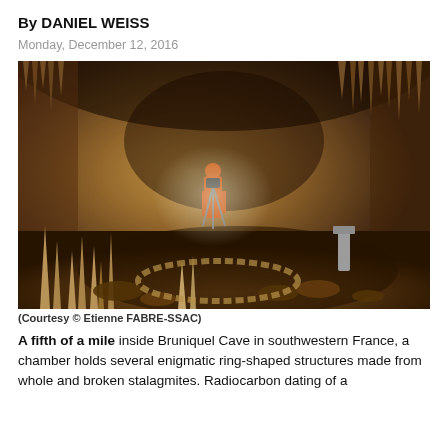By DANIEL WEISS
Monday, December 12, 2016
[Figure (photo): A researcher in an orange jumpsuit stands with a camera tripod inside Bruniquel Cave, surrounded by stalagmites and stalactites, with ring-shaped stone structures on the cave floor.]
(Courtesy © Etienne FABRE-SSAC)
A fifth of a mile inside Bruniquel Cave in southwestern France, a chamber holds several enigmatic ring-shaped structures made from whole and broken stalagmites. Radiocarbon dating of a